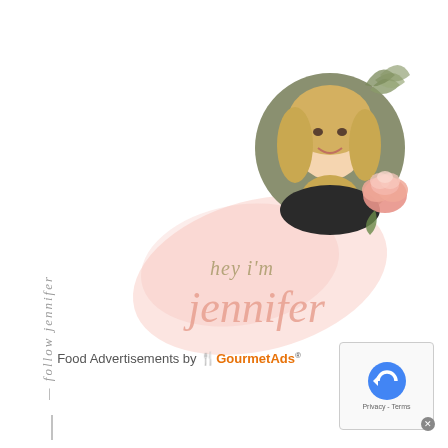[Figure (photo): Circular profile photo of a smiling blonde woman (Jennifer) with a pink watercolor blob behind her, a pink rose flower decoration, and green leaf sprigs.]
hey i'm jennifer
follow jennifer
Food Advertisements by GourmetAds